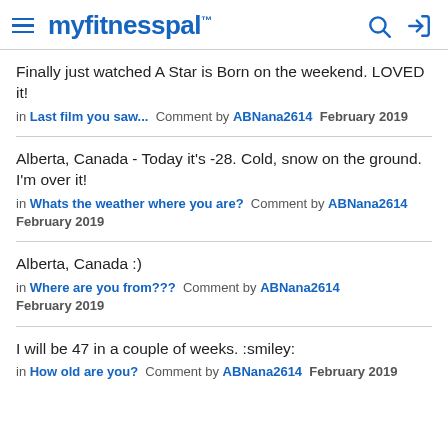myfitnesspal
Finally just watched A Star is Born on the weekend. LOVED it! in Last film you saw... Comment by ABNana2614 February 2019
Alberta, Canada - Today it's -28. Cold, snow on the ground. I'm over it! in Whats the weather where you are? Comment by ABNana2614 February 2019
Alberta, Canada :) in Where are you from??? Comment by ABNana2614 February 2019
I will be 47 in a couple of weeks. :smiley: in How old are you? Comment by ABNana2614 February 2019